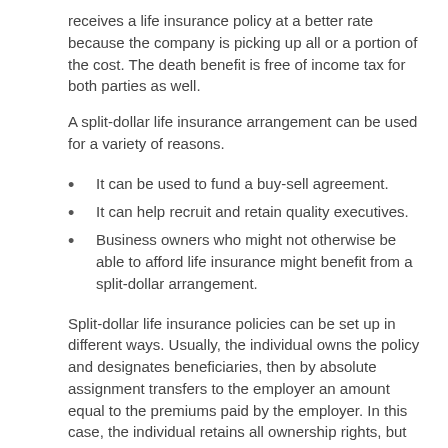receives a life insurance policy at a better rate because the company is picking up all or a portion of the cost. The death benefit is free of income tax for both parties as well.
A split-dollar life insurance arrangement can be used for a variety of reasons.
It can be used to fund a buy-sell agreement.
It can help recruit and retain quality executives.
Business owners who might not otherwise be able to afford life insurance might benefit from a split-dollar arrangement.
Split-dollar life insurance policies can be set up in different ways. Usually, the individual owns the policy and designates beneficiaries, then by absolute assignment transfers to the employer an amount equal to the premiums paid by the employer. In this case, the individual retains all ownership rights, but when the individual dies, the employer is reimbursed